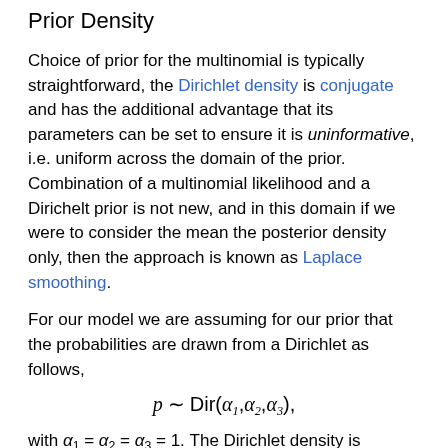Prior Density
Choice of prior for the multinomial is typically straightforward, the Dirichlet density is conjugate and has the additional advantage that its parameters can be set to ensure it is uninformative, i.e. uniform across the domain of the prior. Combination of a multinomial likelihood and a Dirichelt prior is not new, and in this domain if we were to consider the mean the posterior density only, then the approach is known as Laplace smoothing.
For our model we are assuming for our prior that the probabilities are drawn from a Dirichlet as follows,
with α₁ = α₂ = α₃ = 1. The Dirichlet density is conjugate to the multinomial distribution, and we associate three different outcomes with the multinomial. For each of the 166 papers we expect to have a consistent accept (outcome 1), an inconsistent decision (outcome 2) or a